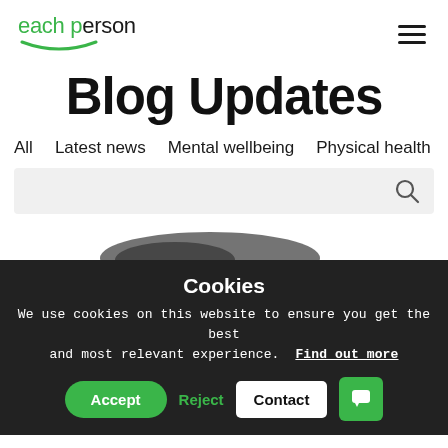each person [logo with smile]
Blog Updates
All
Latest news
Mental wellbeing
Physical health
[Figure (other): Search bar with search icon]
[Figure (photo): Partial image visible at bottom of page before cookie banner]
Cookies
We use cookies on this website to ensure you get the best and most relevant experience. Find out more
Accept Reject Contact